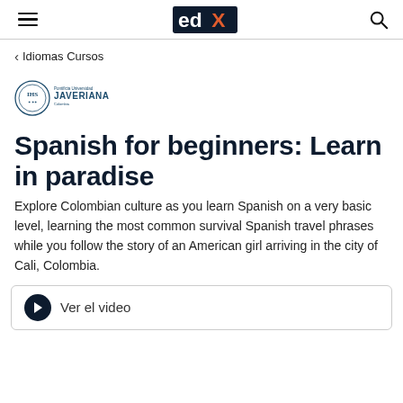edX — Idiomas Cursos
[Figure (logo): Pontificia Universidad Javeriana logo]
Spanish for beginners: Learn in paradise
Explore Colombian culture as you learn Spanish on a very basic level, learning the most common survival Spanish travel phrases while you follow the story of an American girl arriving in the city of Cali, Colombia.
Ver el video